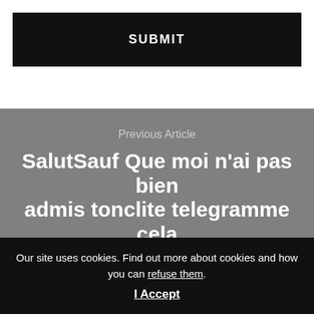SUBMIT
Previous Article
SalutSauf Que moi n'ai pas bien admis tonclite telegramme cela
Our site uses cookies. Find out more about cookies and how you can refuse them.
I Accept